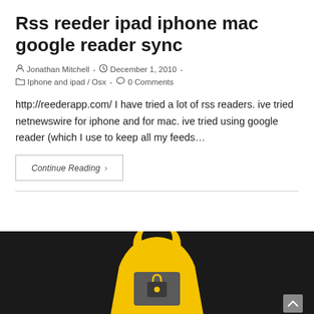Rss reeder ipad iphone mac google reader sync
Jonathan Mitchell - December 1, 2010 - Iphone and ipad / Osx - 0 Comments
http://reederapp.com/ I have tried a lot of rss readers. ive tried netnewswire for iphone and for mac. ive tried using google reader (which I use to keep all my feeds…
Continue Reading ›
[Figure (illustration): Dark background illustration showing a yellow hooded figure holding a gray laptop/briefcase with a yellow lock icon. Partially visible at bottom of page.]